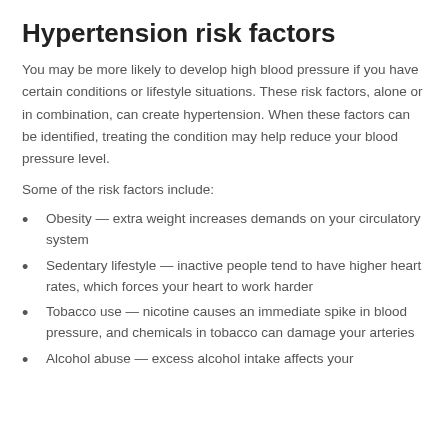Hypertension risk factors
You may be more likely to develop high blood pressure if you have certain conditions or lifestyle situations. These risk factors, alone or in combination, can create hypertension. When these factors can be identified, treating the condition may help reduce your blood pressure level.
Some of the risk factors include:
Obesity — extra weight increases demands on your circulatory system
Sedentary lifestyle — inactive people tend to have higher heart rates, which forces your heart to work harder
Tobacco use — nicotine causes an immediate spike in blood pressure, and chemicals in tobacco can damage your arteries
Alcohol abuse — excess alcohol intake affects your